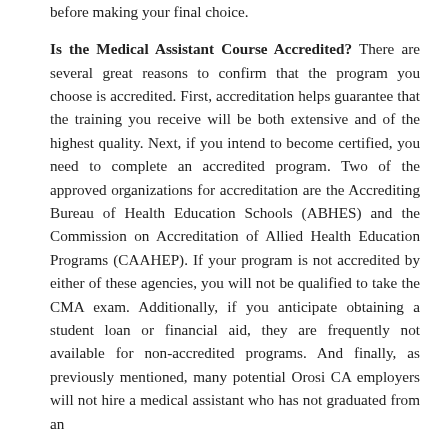before making your final choice.
Is the Medical Assistant Course Accredited? There are several great reasons to confirm that the program you choose is accredited. First, accreditation helps guarantee that the training you receive will be both extensive and of the highest quality. Next, if you intend to become certified, you need to complete an accredited program. Two of the approved organizations for accreditation are the Accrediting Bureau of Health Education Schools (ABHES) and the Commission on Accreditation of Allied Health Education Programs (CAAHEP). If your program is not accredited by either of these agencies, you will not be qualified to take the CMA exam. Additionally, if you anticipate obtaining a student loan or financial aid, they are frequently not available for non-accredited programs. And finally, as previously mentioned, many potential Orosi CA employers will not hire a medical assistant who has not graduated from an